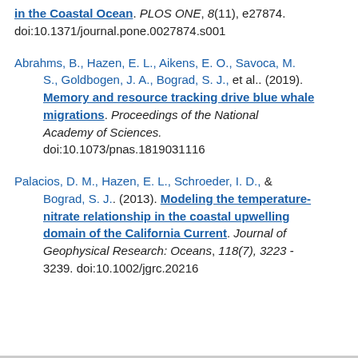in the Coastal Ocean. PLOS ONE, 8(11), e27874. doi:10.1371/journal.pone.0027874.s001
Abrahms, B., Hazen, E. L., Aikens, E. O., Savoca, M. S., Goldbogen, J. A., Bograd, S. J., et al.. (2019). Memory and resource tracking drive blue whale migrations. Proceedings of the National Academy of Sciences. doi:10.1073/pnas.1819031116
Palacios, D. M., Hazen, E. L., Schroeder, I. D., & Bograd, S. J.. (2013). Modeling the temperature-nitrate relationship in the coastal upwelling domain of the California Current. Journal of Geophysical Research: Oceans, 118(7), 3223 - 3239. doi:10.1002/jgrc.20216